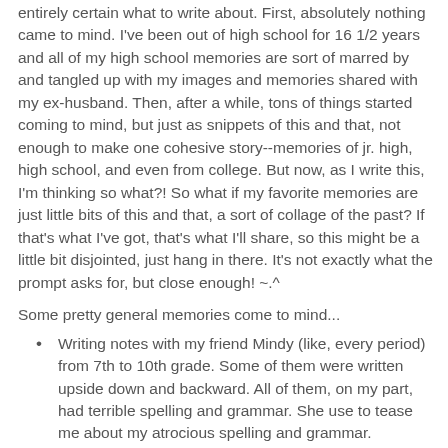entirely certain what to write about. First, absolutely nothing came to mind. I've been out of high school for 16 1/2 years and all of my high school memories are sort of marred by and tangled up with my images and memories shared with my ex-husband. Then, after a while, tons of things started coming to mind, but just as snippets of this and that, not enough to make one cohesive story--memories of jr. high, high school, and even from college. But now, as I write this, I'm thinking so what?! So what if my favorite memories are just little bits of this and that, a sort of collage of the past? If that's what I've got, that's what I'll share, so this might be a little bit disjointed, just hang in there. It's not exactly what the prompt asks for, but close enough! ~.^
Some pretty general memories come to mind...
Writing notes with my friend Mindy (like, every period) from 7th to 10th grade. Some of them were written upside down and backward. All of them, on my part, had terrible spelling and grammar. She use to tease me about my atrocious spelling and grammar.